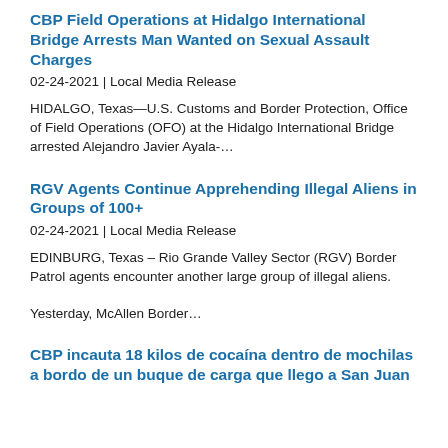CBP Field Operations at Hidalgo International Bridge Arrests Man Wanted on Sexual Assault Charges
02-24-2021 | Local Media Release
HIDALGO, Texas—U.S. Customs and Border Protection, Office of Field Operations (OFO) at the Hidalgo International Bridge arrested Alejandro Javier Ayala-…
RGV Agents Continue Apprehending Illegal Aliens in Groups of 100+
02-24-2021 | Local Media Release
EDINBURG, Texas – Rio Grande Valley Sector (RGV) Border Patrol agents encounter another large group of illegal aliens.
Yesterday, McAllen Border…
CBP incauta 18 kilos de cocaína dentro de mochilas a bordo de un buque de carga que llego a San Juan